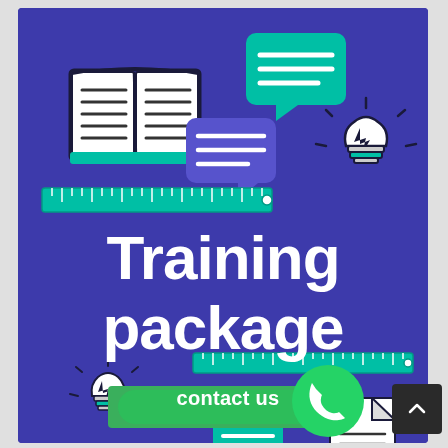[Figure (illustration): Purple/indigo background promotional banner for a Training Package. Contains decorative icons: open book (white/teal), teal ruler, teal and purple speech/chat bubbles, lightbulb icons, WhatsApp contact button, ruler at bottom right, document icon. Large white bold text reads 'Training package'. Green pill button says 'contact us' with WhatsApp circle icon.]
Training package
contact us